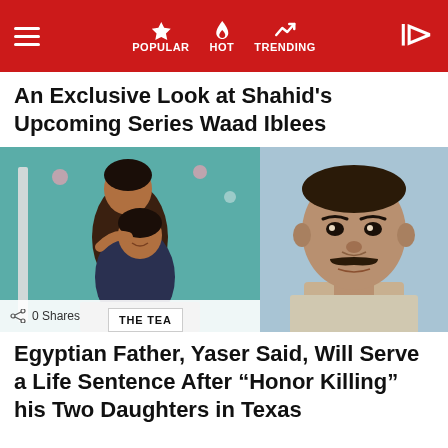POPULAR  HOT  TRENDING
An Exclusive Look at Shahid’s Upcoming Series Waad Iblees
[Figure (photo): Two young women posing together, hugging, in front of a teal wall with floral decorations. Left photo of two daughters.]
[Figure (photo): Close-up headshot of a middle-aged man with a mustache against a light blue background — driver's license or ID photo style.]
Egyptian Father, Yaser Said, Will Serve a Life Sentence After “Honor Killing” his Two Daughters in Texas